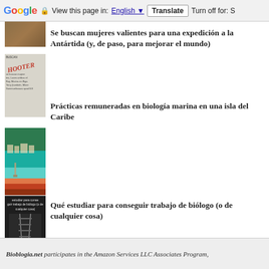[Figure (screenshot): Google Translate browser bar with 'View this page in: English [dropdown] Translate | Turn off for: S']
[Figure (photo): Thumbnail image cropped, brownish texture visible at top]
Se buscan mujeres valientes para una expedición a la Antártida (y, de paso, para mejorar el mundo)
[Figure (photo): Thumbnail of a document with red italic stamp overlay]
Prácticas remuneradas en biología marina en una isla del Caribe
[Figure (photo): Aerial photo of a Caribbean island with turquoise water and buildings]
Qué estudiar para conseguir trabajo de biólogo (o de cualquier cosa)
[Figure (photo): Dark thumbnail with white text overlay about studying for biology jobs, with railway tracks]
Bioblogia.net participates in the Amazon Services LLC Associates Program,